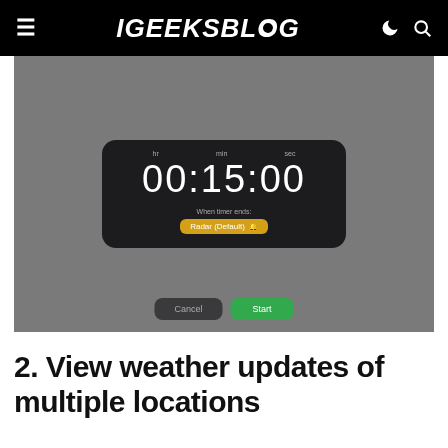iGEEKSBLOG
[Figure (screenshot): iPhone timer app screenshot showing 00:15:00 countdown timer with 'When timer ends: Radar (Default)' option and Cancel/Start buttons, on a grey background]
2. View weather updates of multiple locations